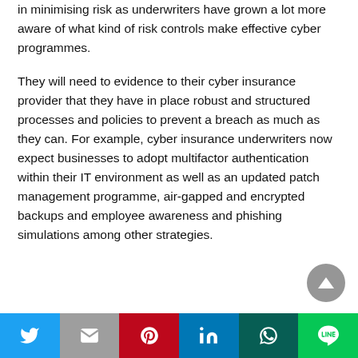in minimising risk as underwriters have grown a lot more aware of what kind of risk controls make effective cyber programmes.
They will need to evidence to their cyber insurance provider that they have in place robust and structured processes and policies to prevent a breach as much as they can. For example, cyber insurance underwriters now expect businesses to adopt multifactor authentication within their IT environment as well as an updated patch management programme, air-gapped and encrypted backups and employee awareness and phishing simulations among other strategies.
Social share buttons: Twitter, Gmail, Pinterest, LinkedIn, WhatsApp, LINE